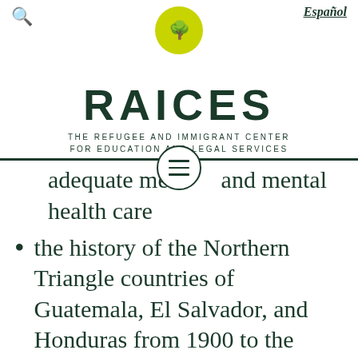RAICES — THE REFUGEE AND IMMIGRANT CENTER FOR EDUCATION AND LEGAL SERVICES
adequate medical and mental health care
the history of the Northern Triangle countries of Guatemala, El Salvador, and Honduras from 1900 to the present, including U.S. intervention and exploitation
the effects of trauma on memory and how to maintain a trauma